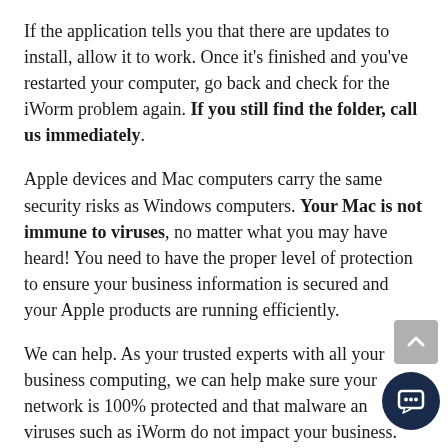If the application tells you that there are updates to install, allow it to work. Once it's finished and you've restarted your computer, go back and check for the iWorm problem again. If you still find the folder, call us immediately.
Apple devices and Mac computers carry the same security risks as Windows computers. Your Mac is not immune to viruses, no matter what you may have heard! You need to have the proper level of protection to ensure your business information is secured and your Apple products are running efficiently.
We can help. As your trusted experts with all your business computing, we can help make sure your network is 100% protected and that malware and viruses such as iWorm do not impact your business.